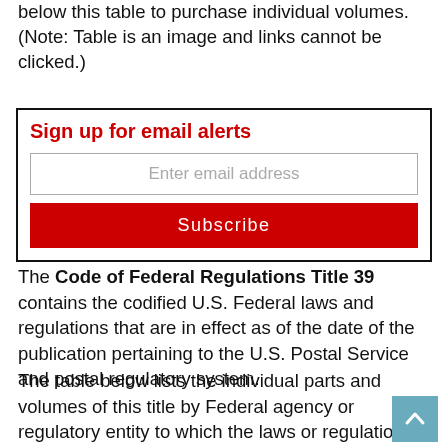below this table to purchase individual volumes. (Note: Table is an image and links cannot be clicked.)
Sign up for email alerts
Enter email address
Subscribe
The Code of Federal Regulations Title 39 contains the codified U.S. Federal laws and regulations that are in effect as of the date of the publication pertaining to the U.S. Postal Service and postal regulatory system.
The table below lists the individual parts and volumes of this title by Federal agency or regulatory entity to which the laws or regulations included in that volume pertain. Scroll below this table to purchase individual